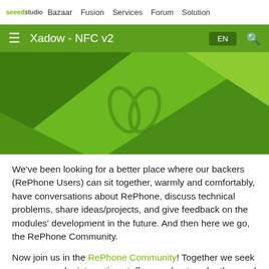seeed studio  Bazaar  Fusion  Services  Forum  Solution
[Figure (screenshot): Green navigation bar with hamburger menu, title 'Xadow - NFC v2', EN language button, and search icon]
[Figure (illustration): Green triangular banner with RePhone/Seeed leaf logo watermark in center]
We've been looking for a better place where our backers (RePhone Users) can sit together, warmly and comfortably, have conversations about RePhone, discuss technical problems, share ideas/projects, and give feedback on the modules' development in the future. And then here we go, the RePhone Community.
Now join us in the RePhone Community! Together we seek answers, make interesting stuff, care about each other, and share our experiences.